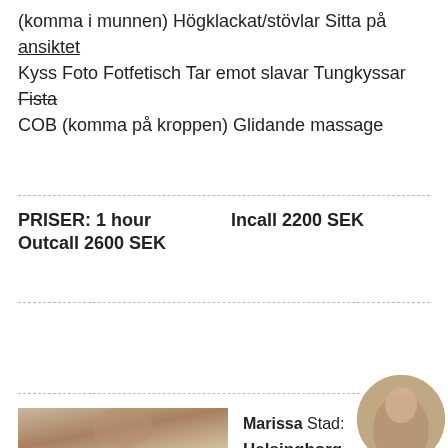(komma i munnen) Högklackat/stövlar Sitta på ansiktet Kyss Foto Fotfetisch Tar emot slavar Tungkyssar Fista COB (komma på kroppen) Glidande massage
PRISER: 1 hour   Incall 2200 SEK
Outcall 2600 SEK
Prioritetsannons
[Figure (photo): Photo of a young woman wearing a large straw hat outdoors]
Marissa Stad: Helsingborg
Inlagd: 18:4
Profil: 463
Verification
Incall/Outcal
Info
[Figure (photo): Circular thumbnail photo of a woman in a blue outfit]